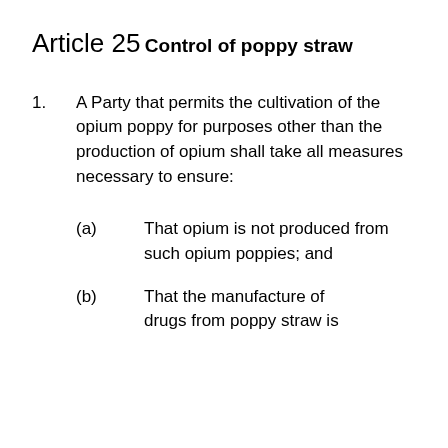Article 25
Control of poppy straw
1. A Party that permits the cultivation of the opium poppy for purposes other than the production of opium shall take all measures necessary to ensure:
(a) That opium is not produced from such opium poppies; and
(b) That the manufacture of drugs from poppy straw is